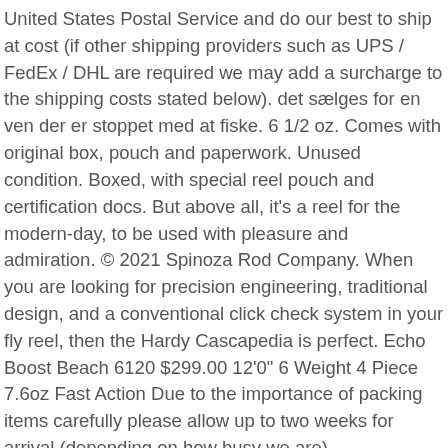United States Postal Service and do our best to ship at cost (if other shipping providers such as UPS / FedEx / DHL are required we may add a surcharge to the shipping costs stated below). det sælges for en ven der er stoppet med at fiske. 6 1/2 oz. Comes with original box, pouch and paperwork. Unused condition. Boxed, with special reel pouch and certification docs. But above all, it's a reel for the modern-day, to be used with pleasure and admiration. © 2021 Spinoza Rod Company. When you are looking for precision engineering, traditional design, and a conventional click check system in your fly reel, then the Hardy Cascapedia is perfect. Echo Boost Beach 6120 $299.00 12'0" 6 Weight 4 Piece 7.6oz Fast Action Due to the importance of packing items carefully please allow up to two weeks for arrival (depending on how busy we are)